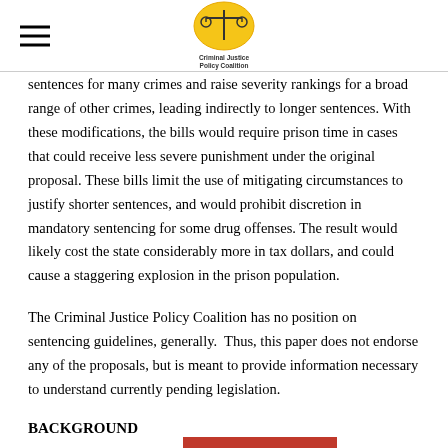Criminal Justice Policy Coalition
sentences for many crimes and raise severity rankings for a broad range of other crimes, leading indirectly to longer sentences. With these modifications, the bills would require prison time in cases that could receive less severe punishment under the original proposal. These bills limit the use of mitigating circumstances to justify shorter sentences, and would prohibit discretion in mandatory sentencing for some drug offenses. The result would likely cost the state considerably more in tax dollars, and could cause a staggering explosion in the prison population.
The Criminal Justice Policy Coalition has no position on sentencing guidelines, generally.  Thus, this paper does not endorse any of the proposals, but is meant to provide information necessary to understand currently pending legislation.
BACKGROUND
What follows is a bri…ment of the three